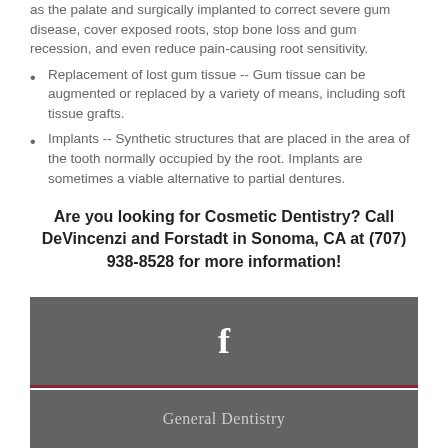as the palate and surgically implanted to correct severe gum disease, cover exposed roots, stop bone loss and gum recession, and even reduce pain-causing root sensitivity.
Replacement of lost gum tissue -- Gum tissue can be augmented or replaced by a variety of means, including soft tissue grafts.
Implants -- Synthetic structures that are placed in the area of the tooth normally occupied by the root. Implants are sometimes a viable alternative to partial dentures.
Are you looking for Cosmetic Dentistry? Call DeVincenzi and Forstadt in Sonoma, CA at (707) 938-8528 for more information!
[Figure (logo): Facebook icon in white on dark gray background with dark red bottom border]
General Dentistry